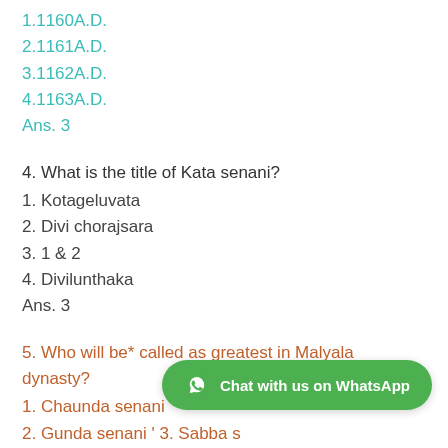1.1160A.D.
2.1161A.D.
3.1162A.D.
4.1163A.D.
Ans. 3
4. What is the title of Kata senani?
1. Kotageluvata
2. Divi chorajsara
3. 1 & 2
4. Divilunthaka
Ans. 3
5. Who will be* called as greatest in Malyala dynasty?
1. Chaunda senani
2. Gunda senani ' 3. Sabba s[truncated by WhatsApp button]
Ans. 1